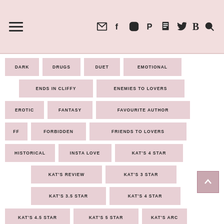Navigation header with hamburger menu and social/utility icons
DARK
DRUGS
DUET
EMOTIONAL
ENDS IN CLIFFY
ENEMIES TO LOVERS
EROTIC
FANTASY
FAVOURITE AUTHOR
FF
FORBIDDEN
FRIENDS TO LOVERS
HISTORICAL
INSTA LOVE
KAT'S 4 STAR
KAT'S REVIEW
KAT'S 3 STAR
KAT'S 3.5 STAR
KAT'S 4 STAR
KAT'S 4.5 STAR
KAT'S 5 STAR
KAT'S ARC
KAT'S FAVORITE 2017
KAT'S FAVORITE 2018